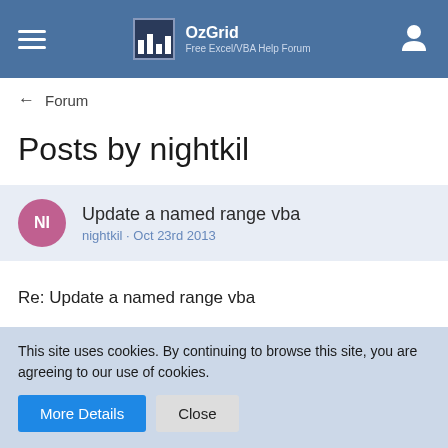OzGrid Free Excel/VBA Help Forum
← Forum
Posts by nightkil
Update a named range vba
nightkil · Oct 23rd 2013
Re: Update a named range vba

Hello Robert,
This site uses cookies. By continuing to browse this site, you are agreeing to our use of cookies.